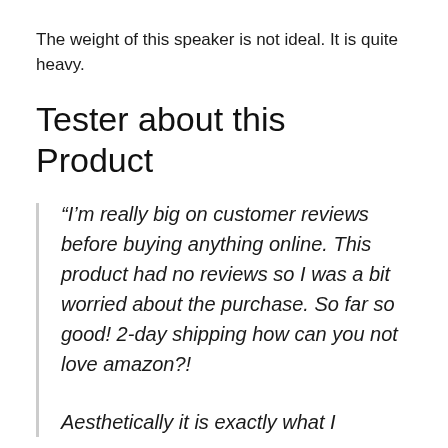The weight of this speaker is not ideal. It is quite heavy.
Tester about this Product
“I’m really big on customer reviews before buying anything online. This product had no reviews so I was a bit worried about the purchase. So far so good! 2-day shipping how can you not love amazon?!
Aesthetically it is exactly what I